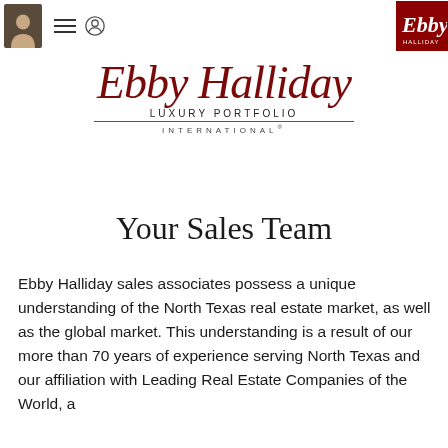[Figure (logo): Ebby Halliday Luxury Portfolio International logo with script text and nav icons]
Your Sales Team
Ebby Halliday sales associates possess a unique understanding of the North Texas real estate market, as well as the global market. This understanding is a result of our more than 70 years of experience serving North Texas and our affiliation with Leading Real Estate Companies of the World, a